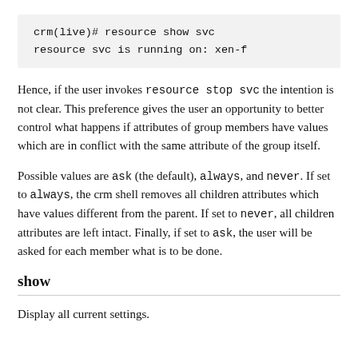[Figure (screenshot): Code block showing: crm(live)# resource show svc
resource svc is running on: xen-f]
Hence, if the user invokes resource stop svc the intention is not clear. This preference gives the user an opportunity to better control what happens if attributes of group members have values which are in conflict with the same attribute of the group itself.
Possible values are ask (the default), always, and never. If set to always, the crm shell removes all children attributes which have values different from the parent. If set to never, all children attributes are left intact. Finally, if set to ask, the user will be asked for each member what is to be done.
show
Display all current settings.